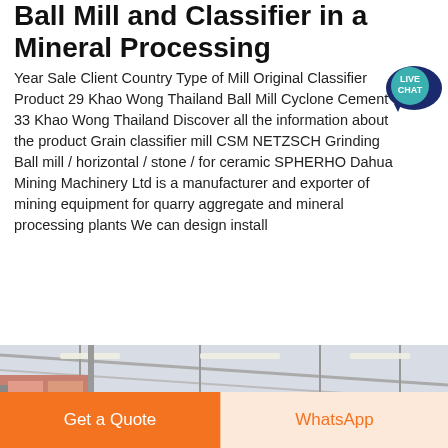Ball Mill and Classifier in a Mineral Processing
Year Sale Client Country Type of Mill Original Classifier Product 29 Khao Wong Thailand Ball Mill Cyclone Cement 33 Khao Wong Thailand Discover all the information about the product Grain classifier mill CSM NETZSCH Grinding Ball mill / horizontal / stone / for ceramic SPHERHO Dahua Mining Machinery Ltd is a manufacturer and exporter of mining equipment for quarry aggregate and mineral processing plants We can design install
[Figure (other): Live Chat bubble badge in teal/dark blue]
[Figure (photo): Interior of a large industrial facility/warehouse showing steel roof trusses, fluorescent lighting, and mining machinery equipment in the foreground]
Learn More
Get a Quote
WhatsApp